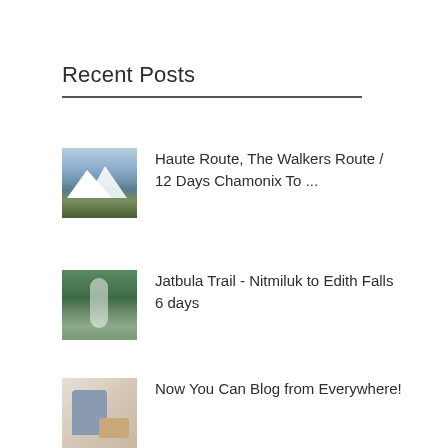Recent Posts
Haute Route, The Walkers Route / 12 Days Chamonix To ...
Jatbula Trail - Nitmiluk to Edith Falls 6 days
Now You Can Blog from Everywhere!